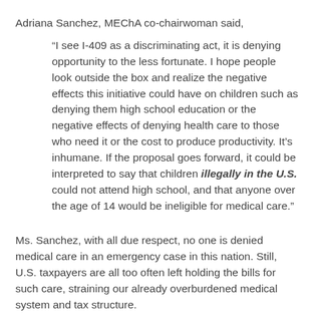Adriana Sanchez, MEChA co-chairwoman said,
“I see I-409 as a discriminating act, it is denying opportunity to the less fortunate. I hope people look outside the box and realize the negative effects this initiative could have on children such as denying them high school education or the negative effects of denying health care to those who need it or the cost to produce productivity. It’s inhumane. If the proposal goes forward, it could be interpreted to say that children illegally in the U.S. could not attend high school, and that anyone over the age of 14 would be ineligible for medical care.”
Ms. Sanchez, with all due respect, no one is denied medical care in an emergency case in this nation. Still, U.S. taxpayers are all too often left holding the bills for such care, straining our already overburdened medical system and tax structure.